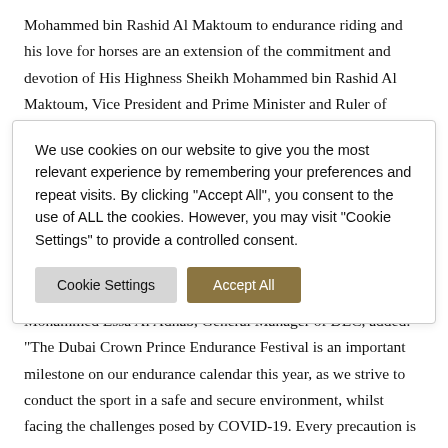Mohammed bin Rashid Al Maktoum to endurance riding and his love for horses are an extension of the commitment and devotion of His Highness Sheikh Mohammed bin Rashid Al Maktoum, Vice President and Prime Minister and Ruler of Dubai. May God protect him, 'Faris Al Arab'; who offers the UAE his
We use cookies on our website to give you the most relevant experience by remembering your preferences and repeat visits. By clicking "Accept All", you consent to the use of ALL the cookies. However, you may visit "Cookie Settings" to provide a controlled consent.
Mohammed Essa Al Adhab, General Manager of DEC, added: "The Dubai Crown Prince Endurance Festival is an important milestone on our endurance calendar this year, as we strive to conduct the sport in a safe and secure environment, whilst facing the challenges posed by COVID-19. Every precaution is being taken to ensure the safety of all participants, officials and staff